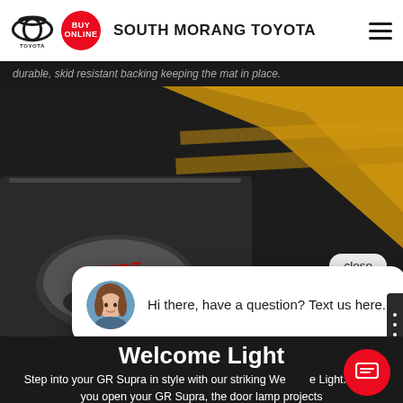SOUTH MORANG TOYOTA
durable, skid resistant backing keeping the mat in place.
[Figure (photo): Close-up photo of a Toyota GR Supra floor mat with Toyota branding and yellow car body accent visible in the background. A chat popup overlay reads 'Hi there, have a question? Text us here.' with a close button.]
Welcome Light
Step into your GR Supra in style with our striking Welcome Light. When you open your GR Supra, the door lamp projects